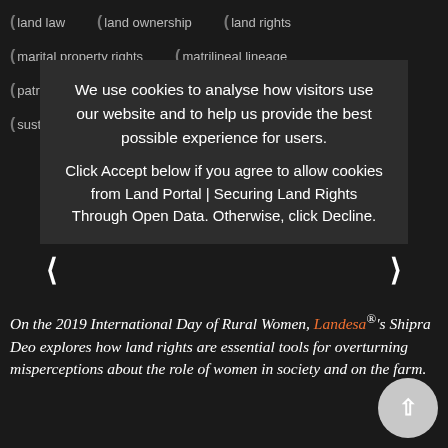land law  land ownership  land rights
marital property rights  matrilineal lineage
patrilineal lineage  private ownership
sustainable development  women
[Figure (screenshot): Cookie consent overlay with dark background, showing message: 'We use cookies to analyse how visitors use our website and to help us provide the best possible experience for users. Click Accept below if you agree to allow cookies from Land Portal | Securing Land Rights Through Open Data. Otherwise, click Decline.' with Accept and Decline orange buttons, carousel arrows, and pagination dots.]
On the 2019 International Day of Rural Women, Landesa's Shipra Deo explores how land rights are essential tools for overturning misperceptions about the role of women in society and on the farm.
In a workshop of practitioners who work in agriculture asked the participants to draw the picture of a farmer with whom they work. All but one of them draw male figures.
I go to farmer fairs organized by universities, the State Department of Agriculture, and agri-input companies. Most of the farmers visiting there are